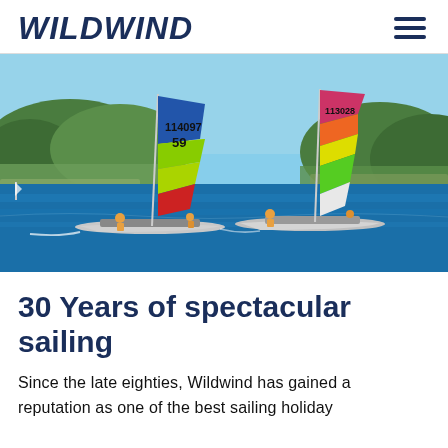WILDWIND
[Figure (photo): Two colorful catamaran sailboats racing on blue water near a rocky Mediterranean coastline. The sails are brightly colored in blue, green, yellow, red, and pink. Sail numbers 114097 and 113028 are visible. Crew members in orange life vests are visible on the boats.]
30 Years of spectacular sailing
Since the late eighties, Wildwind has gained a reputation as one of the best sailing holiday